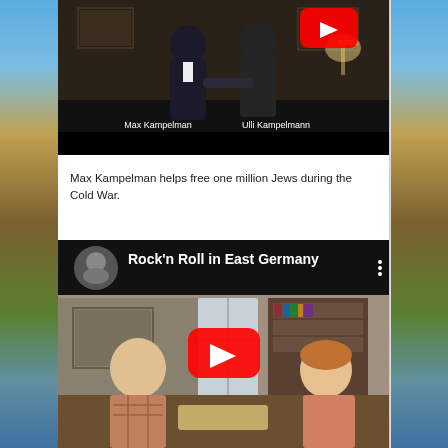[Figure (screenshot): YouTube video thumbnail showing two men shaking hands in an office/room setting, labeled 'Max Kampelman' and 'Ulli Kampelmann' with a red YouTube play button overlay]
Max Kampelman helps free one million Jews during the Cold War.
[Figure (screenshot): YouTube video thumbnail titled 'Rock'n Roll in East Germany' showing a man and woman sitting at a table with bookshelves behind them, with a red YouTube play button overlay]